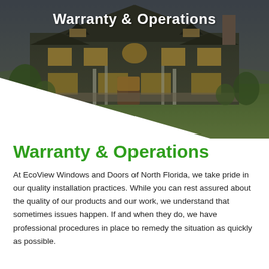[Figure (photo): Background photo of a large suburban house with warm interior lighting, green lawn, and dark exterior siding. A white diagonal overlay covers the lower portion of the image.]
Warranty & Operations
Warranty & Operations
At EcoView Windows and Doors of North Florida, we take pride in our quality installation practices. While you can rest assured about the quality of our products and our work, we understand that sometimes issues happen. If and when they do, we have professional procedures in place to remedy the situation as quickly as possible.